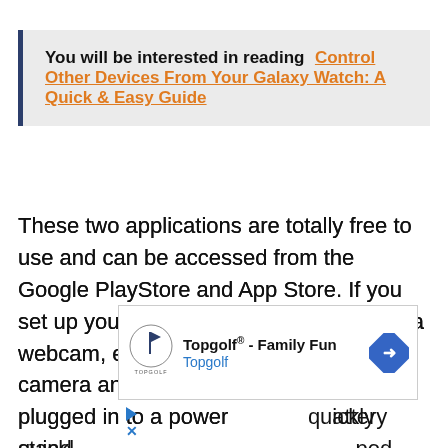You will be interested in reading  Control Other Devices From Your Galaxy Watch: A Quick & Easy Guide
These two applications are totally free to use and can be accessed from the Google PlayStore and App Store. If you set up your mobile device to be used as a webcam, ensure you use the main camera and also keep your phone plugged in to a power [battery quickly] [tripod stand]
[Figure (other): Advertisement overlay for Topgolf® - Family Fun by Topgolf, with Topgolf logo, navigation arrow icon, play button and close button.]